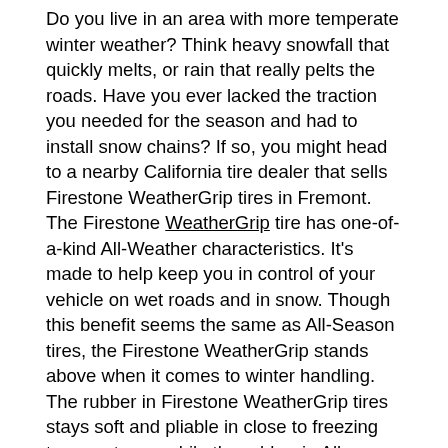Do you live in an area with more temperate winter weather? Think heavy snowfall that quickly melts, or rain that really pelts the roads. Have you ever lacked the traction you needed for the season and had to install snow chains? If so, you might head to a nearby California tire dealer that sells Firestone WeatherGrip tires in Fremont. The Firestone WeatherGrip tire has one-of-a-kind All-Weather characteristics. It's made to help keep you in control of your vehicle on wet roads and in snow. Though this benefit seems the same as All-Season tires, the Firestone WeatherGrip stands above when it comes to winter handling. The rubber in Firestone WeatherGrip tires stays soft and pliable in close to freezing temperatures, while the rubber in All-Season tires can become stiff in the cold. What happens then? Grip and traction can decline if you drive on All-Season tires in frigid temperatures. Plus, Firestone WeatherGrip tires are 3-Peak Mountain Snowflake certified. The special 3-Peak designation means that the tire has been tested to perform in extreme winter driving conditions. So, yeah — your vehicle